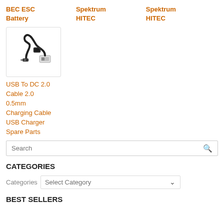BEC ESC
Battery
Spektrum
HITEC
Spektrum
HITEC
[Figure (photo): USB to DC 2.0 charging cable with USB type-A connector and DC barrel plug, coiled black cable]
USB To DC 2.0 Cable 2.0 0.5mm Charging Cable USB Charger Spare Parts
Search
CATEGORIES
Categories  Select Category
BEST SELLERS